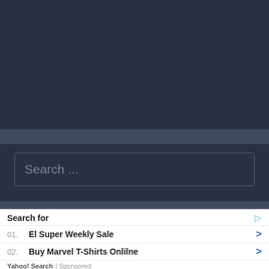[Figure (screenshot): Dark blue-grey website background header area]
Search ...
Recent Posts
Marvel Super War – Gambit Guide
Search for
01. El Super Weekly Sale
02. Buy Marvel T-Shirts Onlilne
Yahoo! Search | Sponsored